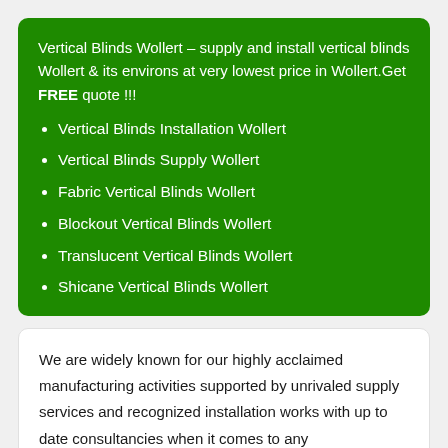Vertical Blinds Wollert – supply and install vertical blinds Wollert & its environs at very lowest price in Wollert.Get FREE quote !!!
Vertical Blinds Installation Wollert
Vertical Blinds Supply Wollert
Fabric Vertical Blinds Wollert
Blockout Vertical Blinds Wollert
Translucent Vertical Blinds Wollert
Shicane Vertical Blinds Wollert
We are widely known for our highly acclaimed manufacturing activities supported by unrivaled supply services and recognized installation works with up to date consultancies when it comes to any